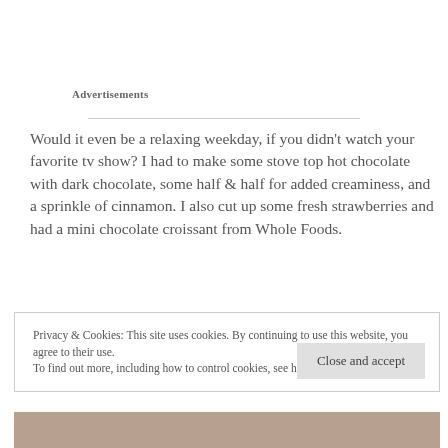Advertisements
Would it even be a relaxing weekday, if you didn't watch your favorite tv show? I had to make some stove top hot chocolate with dark chocolate, some half & half for added creaminess, and a sprinkle of cinnamon. I also cut up some fresh strawberries and had a mini chocolate croissant from Whole Foods.
Privacy & Cookies: This site uses cookies. By continuing to use this website, you agree to their use.
To find out more, including how to control cookies, see here: Cookie Policy
[Figure (photo): Bottom strip showing a food photo (strawberries and chocolate items)]